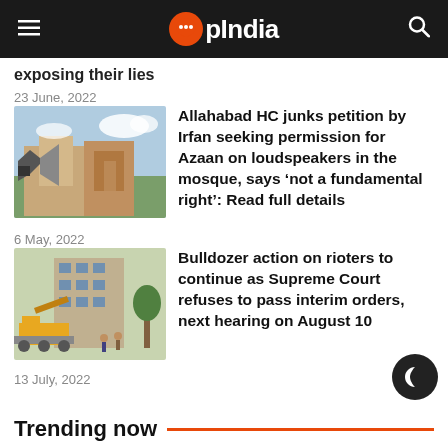OpIndia
exposing their lies
23 June, 2022
[Figure (photo): Allahabad High Court building with loudspeaker in foreground]
Allahabad HC junks petition by Irfan seeking permission for Azaan on loudspeakers in the mosque, says ‘not a fundamental right’: Read full details
6 May, 2022
[Figure (photo): Bulldozer demolition action near apartment building]
Bulldozer action on rioters to continue as Supreme Court refuses to pass interim orders, next hearing on August 10
13 July, 2022
Trending now